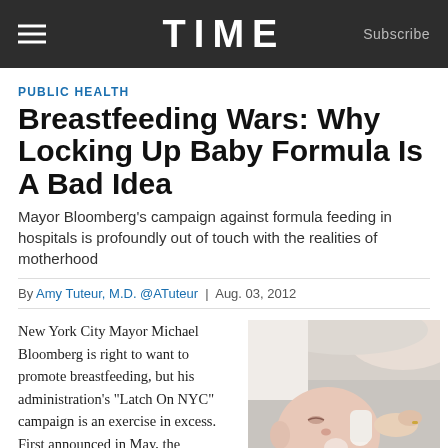TIME | Subscribe
PUBLIC HEALTH
Breastfeeding Wars: Why Locking Up Baby Formula Is A Bad Idea
Mayor Bloomberg’s campaign against formula feeding in hospitals is profoundly out of touch with the realities of motherhood
By Amy Tuteur, M.D. @ATuteur | Aug. 03, 2012
New York City Mayor Michael Bloomberg is right to want to promote breastfeeding, but his administration’s “Latch On NYC” campaign is an exercise in excess. First announced in May, the campaign is asking maternity hospitals to 1. ban formula feeding
[Figure (photo): A baby being bottle-fed by an adult, close-up photo]
Getty Images